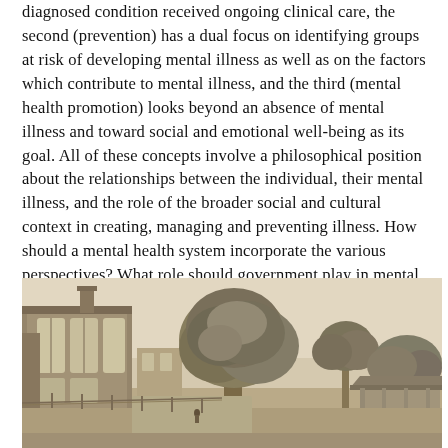diagnosed condition received ongoing clinical care, the second (prevention) has a dual focus on identifying groups at risk of developing mental illness as well as on the factors which contribute to mental illness, and the third (mental health promotion) looks beyond an absence of mental illness and toward social and emotional well-being as its goal. All of these concepts involve a philosophical position about the relationships between the individual, their mental illness, and the role of the broader social and cultural context in creating, managing and preventing illness. How should a mental health system incorporate the various perspectives? What role should government play in mental health prevention and promotion?
[Figure (photo): Black and white photograph showing a historic building with large windows on the left, a large tree in the center, open grounds, and a covered pavilion or shelter structure on the right. Appears to be grounds of a psychiatric or public health institution.]